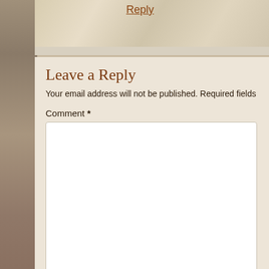Reply
Leave a Reply
Your email address will not be published. Required fields are marke
Comment *
Name *
Email *
Website